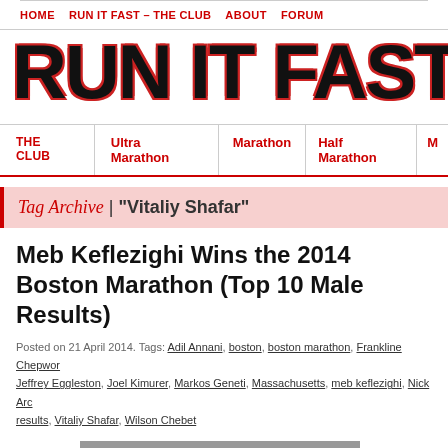HOME | RUN IT FAST – THE CLUB | ABOUT | FORUM
RUN IT FAST
THE CLUB | Ultra Marathon | Marathon | Half Marathon
Tag Archive | "Vitaliy Shafar"
Meb Keflezighi Wins the 2014 Boston Marathon (Top 10 Male Results)
Posted on 21 April 2014. Tags: Adil Annani, boston, boston marathon, Frankline Chepwor, Jeffrey Eggleston, Joel Kimurer, Markos Geneti, Massachusetts, meb keflezighi, Nick Arc, results, Vitaliy Shafar, Wilson Chebet
[Figure (photo): Street photo from Boston Marathon finish area]